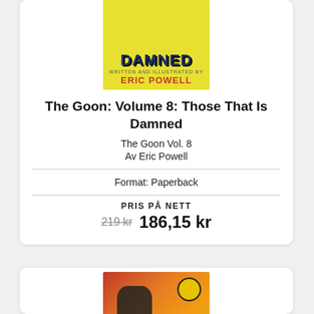[Figure (illustration): Book cover of The Goon Volume 8: Those That Is Damned, yellow background with 'DAMNED' in dark blue text and 'ERIC POWELL' in red text at bottom]
The Goon: Volume 8: Those That Is Damned
The Goon Vol. 8
Av Eric Powell
Format: Paperback
PRIS PÅ NETT
219 kr  186,15 kr
[Figure (illustration): Book cover of another The Goon volume with red/orange/yellow fiery background, a shadowy character and a large eye visible, 'THE GOON' text at bottom]